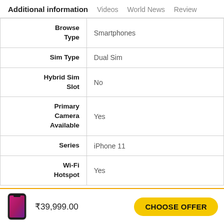Additional information   Videos   World News   Review
| Attribute | Value |
| --- | --- |
| Browse Type | Smartphones |
| Sim Type | Dual Sim |
| Hybrid Sim Slot | No |
| Primary Camera Available | Yes |
| Series | iPhone 11 |
| Wi-Fi Hotspot | Yes |
₹39,999.00
CHOOSE OFFER